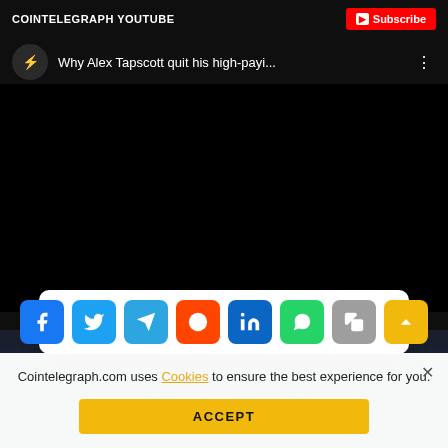[Figure (screenshot): YouTube embedded video player showing CoinTelegraph YouTube channel with video title 'Why Alex Tapscott quit his high-payi...' and a Subscribe button. The video area is black.]
[Figure (infographic): Social media share bar with icons for Facebook, Twitter, Telegram, Reddit, LinkedIn, WhatsApp, Copy, and scroll-up (gold).]
Cointelegraph.com uses Cookies to ensure the best experience for you.
ACCEPT